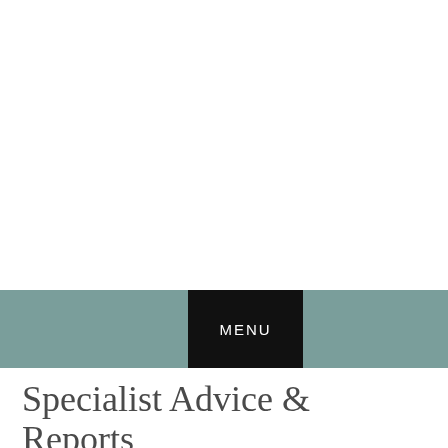[Figure (screenshot): Navigation bar with teal/muted green background spanning full width, containing a black MENU button centered horizontally]
Specialist Advice & Reports